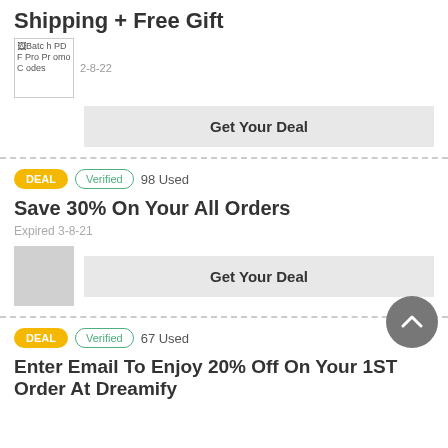Shipping + Free Gift
Batch PDF Pro Promo Codes
Expired 2-8-22
Get Your Deal
DEAL  Verified  98 Used
Save 30% On Your All Orders
Expired 3-8-21
Get Your Deal
DEAL  Verified  67 Used
Enter Email To Enjoy 20% Off On Your 1ST Order At Dreamify